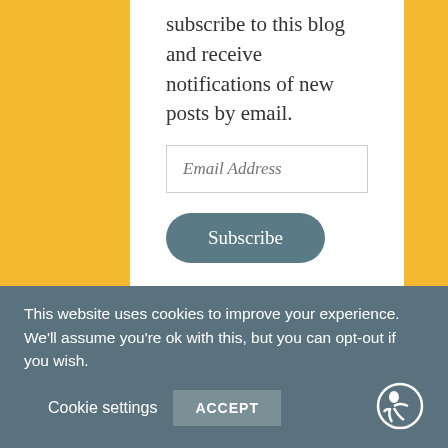subscribe to this blog and receive notifications of new posts by email.
Email Address
Subscribe
H&WR Social
[Figure (other): Social media icons: Twitter (blue), Instagram (gradient), Pinterest (red), Goodreads (orange)]
This website uses cookies to improve your experience. We'll assume you're ok with this, but you can opt-out if you wish.
Cookie settings
ACCEPT